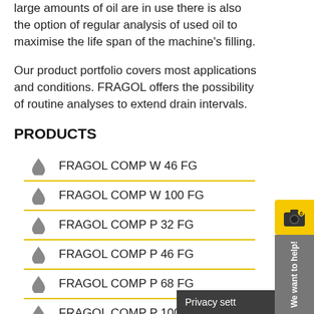large amounts of oil are in use there is also the option of regular analysis of used oil to maximise the life span of the machine's filling.
Our product portfolio covers most applications and conditions. FRAGOL offers the possibility of routine analyses to extend drain intervals.
PRODUCTS
FRAGOL COMP W 46 FG
FRAGOL COMP W 100 FG
FRAGOL COMP P 32 FG
FRAGOL COMP P 46 FG
FRAGOL COMP P 68 FG
FRAGOL COMP P 100 FG